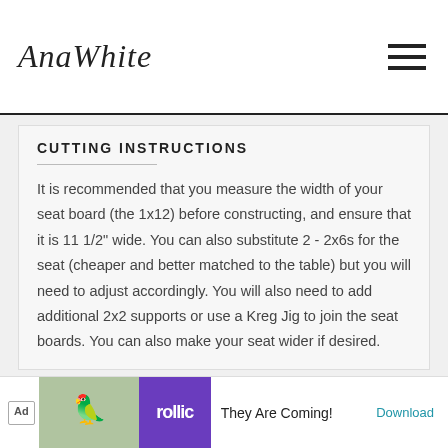AnaWhite
CUTTING INSTRUCTIONS
It is recommended that you measure the width of your seat board (the 1x12) before constructing, and ensure that it is 11 1/2" wide. You can also substitute 2 - 2x6s for the seat (cheaper and better matched to the table) but you will need to adjust accordingly. You will also need to add additional 2x2 supports or use a Kreg Jig to join the seat boards. You can also make your seat wider if desired.